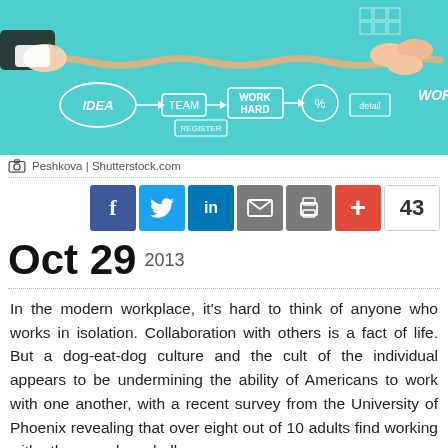[Figure (photo): Tug-of-war image showing hands pulling a rope from both sides against a teal/cyan background with business idea doodles (IDEA, WORK HARD, TEAM, WORK labels drawn in chalk style)]
Peshkova | Shutterstock.com
Oct 29  2013
In the modern workplace, it's hard to think of anyone who works in isolation. Collaboration with others is a fact of life. But a dog-eat-dog culture and the cult of the individual appears to be undermining the ability of Americans to work with one another, with a recent survey from the University of Phoenix revealing that over eight out of 10 adults find working with other people a challenge.